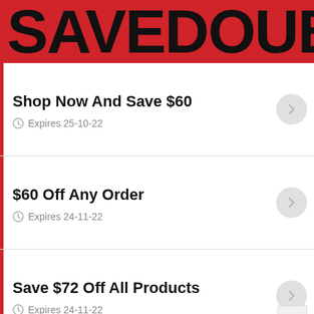SAVEDOUB
Shop Now And Save $60
Expires 25-10-22
$60 Off Any Order
Expires 24-11-22
Save $72 Off All Products
Expires 24-11-22